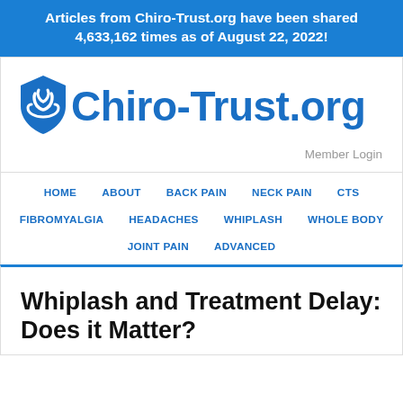Articles from Chiro-Trust.org have been shared 4,633,162 times as of August 22, 2022!
[Figure (logo): Chiro-Trust.org logo with shield icon in blue]
Member Login
HOME   ABOUT   BACK PAIN   NECK PAIN   CTS   FIBROMYALGIA   HEADACHES   WHIPLASH   WHOLE BODY   JOINT PAIN   ADVANCED
Whiplash and Treatment Delay: Does it Matter?